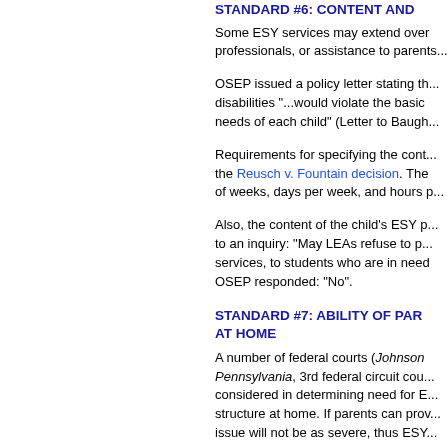STANDARD #6: CONTENT AND...
Some ESY services may extend over professionals, or assistance to parents...
OSEP issued a policy letter stating that disabilities "...would violate the basic needs of each child" (Letter to Baugh...
Requirements for specifying the content the Reusch v. Fountain decision. The of weeks, days per week, and hours p...
Also, the content of the child's ESY p to an inquiry: "May LEAs refuse to p services, to students who are in need OSEP responded: "No".
STANDARD #7: ABILITY OF PAR AT HOME
A number of federal courts (Johnson Pennsylvania, 3rd federal circuit cou considered in determining need for E structure at home. If parents can prov issue will not be as severe, thus ESY...